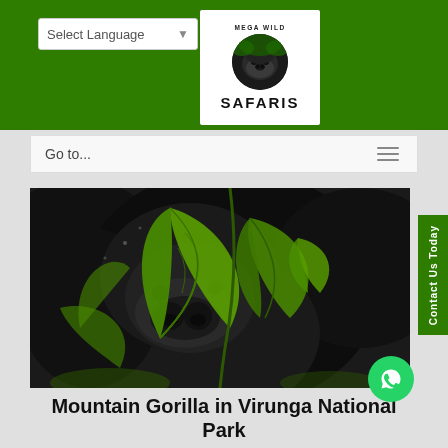[Figure (logo): Mega Wild Safaris logo with gorilla face in circle and text SAFARIS below]
Select Language ▾
Go to...
[Figure (photo): Close-up photograph of a mountain gorilla among green leaves in Virunga National Park]
Contact Us Today
Mountain Gorilla in Virunga National Park